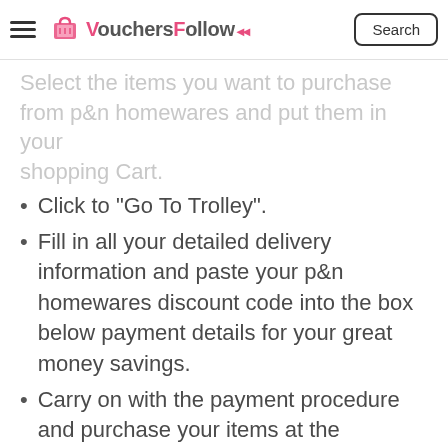VouchersFollow
Select the items you want to purchase from p&n homewares and put them in your shopping Cart.
Click to "Go To Trolley".
Fill in all your detailed delivery information and paste your p&n homewares discount code into the box below payment details for your great money savings.
Carry on with the payment procedure and purchase your items at the discounted prices.
FAQS